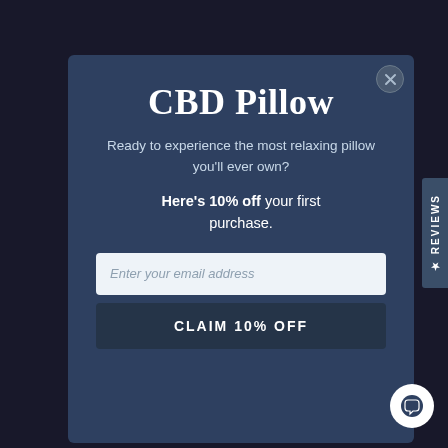[Figure (screenshot): CBD Pillow promotional popup modal with logo, tagline, discount offer, email input field, and claim button on dark background]
CBD Pillow
Ready to experience the most relaxing pillow you'll ever own?
Here's 10% off your first purchase.
Enter your email address
CLAIM 10% OFF
★ REVIEWS